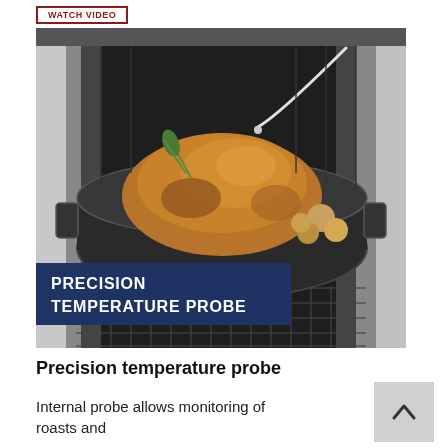WATCH VIDEO
[Figure (photo): A roasted chicken/turkey in a dark roasting pan inside an oven, with a temperature probe inserted. A dark blue banner overlay reads 'PRECISION TEMPERATURE PROBE' in white bold text.]
Precision temperature probe
Internal probe allows monitoring of roasts and